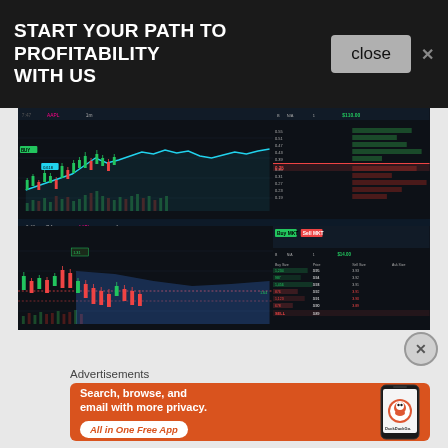START YOUR PATH TO PROFITABILITY WITH US
[Figure (screenshot): Trading platform screenshot showing 4-quadrant layout with candlestick charts, order book, and a second trading pair chart with order flow data. Dark themed UI with green and red candlesticks.]
Advertisements
[Figure (infographic): DuckDuckGo advertisement banner with orange background showing a smartphone. Text reads: Search, browse, and email with more privacy. All in One Free App. DuckDuckGo logo visible on phone screen.]